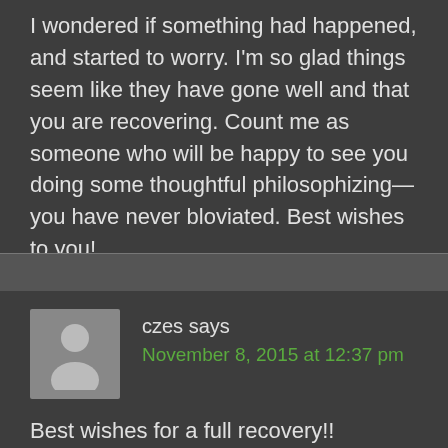I wondered if something had happened, and started to worry. I'm so glad things seem like they have gone well and that you are recovering. Count me as someone who will be happy to see you doing some thoughtful philosophizing—you have never bloviated. Best wishes to you!
Reply
czes says November 8, 2015 at 12:37 pm
Best wishes for a full recovery!!
Reply